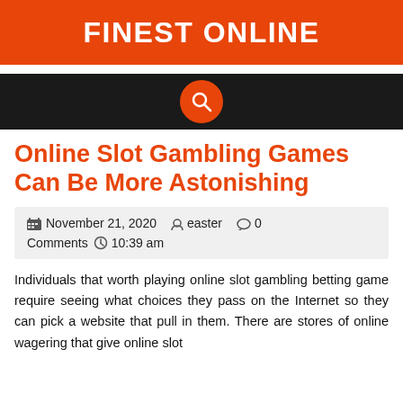FINEST ONLINE
[Figure (other): Dark navigation bar with orange circular search button icon]
Online Slot Gambling Games Can Be More Astonishing
November 21, 2020   easter   0 Comments   10:39 am
Individuals that worth playing online slot gambling betting game require seeing what choices they pass on the Internet so they can pick a website that pull in them. There are stores of online wagering that give online slot